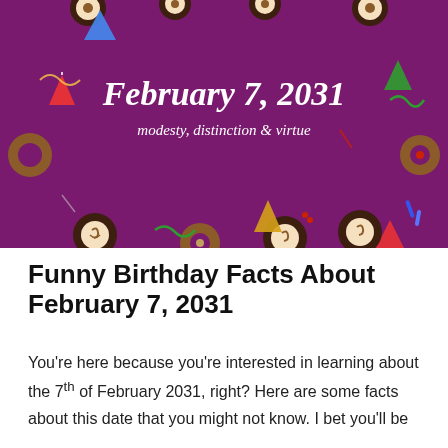[Figure (illustration): Birthday-themed banner with purple background, decorated with cookies, donuts, party hats, and confetti. Center text reads 'February 7, 2031' and 'modesty, distinction & virtue'.]
Funny Birthday Facts About February 7, 2031
You're here because you're interested in learning about the 7th of February 2031, right? Here are some facts about this date that you might not know. I bet you'll be